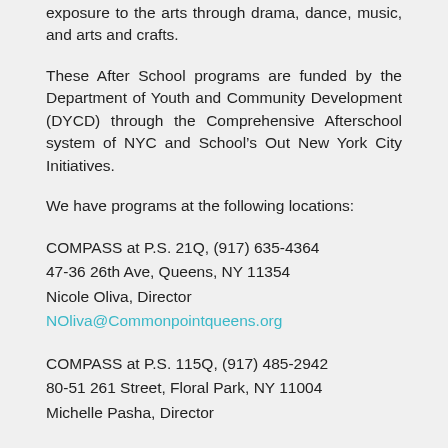exposure to the arts through drama, dance, music, and arts and crafts.
These After School programs are funded by the Department of Youth and Community Development (DYCD) through the Comprehensive Afterschool system of NYC and School’s Out New York City Initiatives.
We have programs at the following locations:
COMPASS at P.S. 21Q, (917) 635-4364
47-36 26th Ave, Queens, NY 11354
Nicole Oliva, Director
NOliva@Commonpointqueens.org
COMPASS at P.S. 115Q, (917) 485-2942
80-51 261 Street, Floral Park, NY 11004
Michelle Pasha, Director